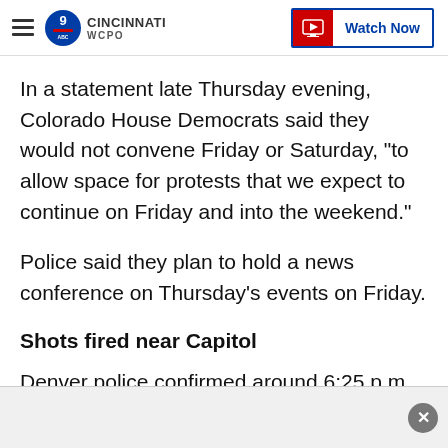WCPO Cincinnati — Watch Now
In a statement late Thursday evening, Colorado House Democrats said they would not convene Friday or Saturday, "to allow space for protests that we expect to continue on Friday and into the weekend."
Police said they plan to hold a news conference on Thursday's events on Friday.
Shots fired near Capitol
Denver police confirmed around 6:25 p.m. local time that shots were fired near Colfax Avenue and 15th